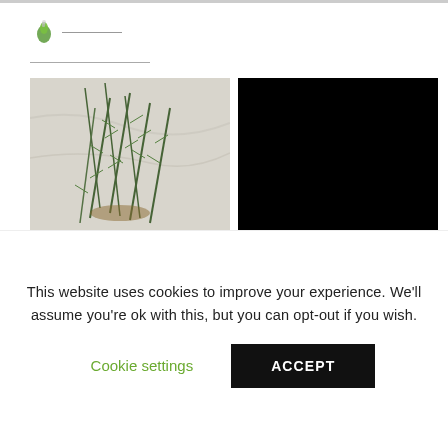[Figure (logo): Small green leaf/bottle logo icon with a horizontal line to the right]
[Figure (photo): Photo of fresh rosemary herbs bundled together on a light marble surface]
[Figure (photo): Black rectangle (obscured/redacted image)]
This website uses cookies to improve your experience. We'll assume you're ok with this, but you can opt-out if you wish.
Cookie settings
ACCEPT